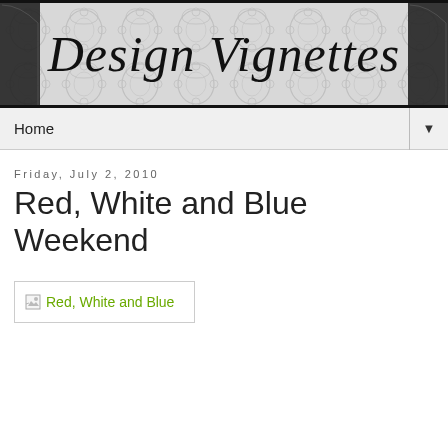Design Vignettes
Home
Friday, July 2, 2010
Red, White and Blue Weekend
[Figure (other): Broken image placeholder with alt text 'Red, White and Blue']